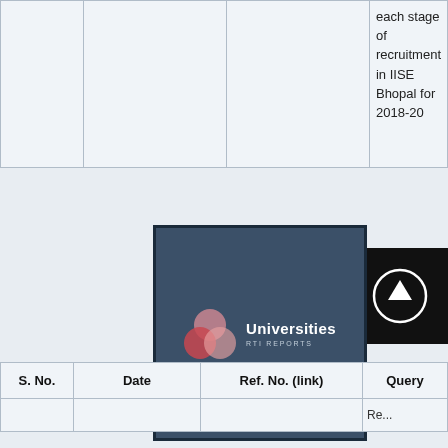| S. No. | Date | Ref. No. (link) | Query |
| --- | --- | --- | --- |
|  |  |  | each stage of recruitment in IISE Bhopal for 2018-20 |
[Figure (logo): Universities RTI Reports logo - dark blue box with three overlapping pink/red circles and white text 'Universities' with subtitle 'RTI REPORTS']
| S. No. | Date | Ref. No. (link) | Query |
| --- | --- | --- | --- |
|  |  |  | Re... |